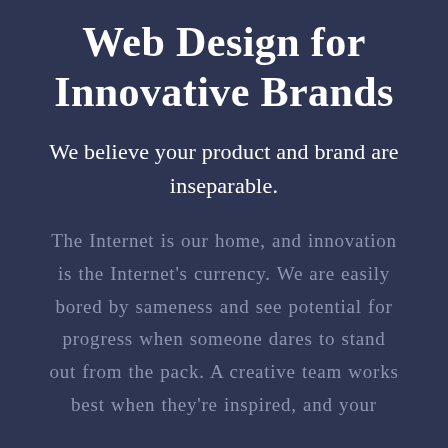Web Design for Innovative Brands
We believe your product and brand are inseparable.
The Internet is our home, and innovation is the Internet's currency. We are easily bored by sameness and see potential for progress when someone dares to stand out from the pack. A creative team works best when they're inspired, and your